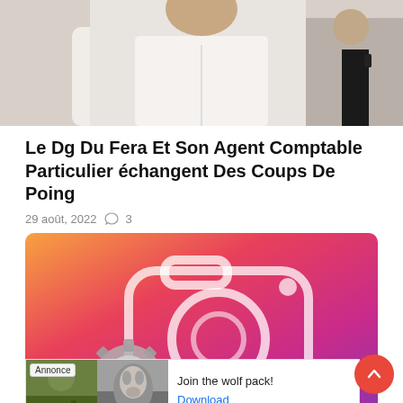[Figure (photo): Top portion of a photo showing a person wearing a white outfit, partially cropped]
Le Dg Du Fera Et Son Agent Comptable Particulier échangent Des Coups De Poing
29 août, 2022  💬 3
[Figure (photo): Instagram-style gradient background (orange to pink/purple) with a white outlined camera icon and a gear/wrench tool icon overlay in the lower left]
Annonce
Join the wolf pack!
Download